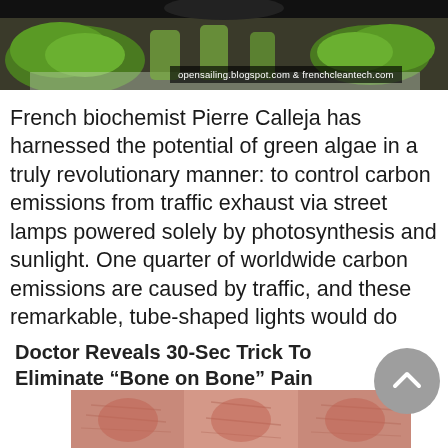[Figure (photo): Top portion of an image showing green algae in lab containers on a white surface, with a dark background at top.]
opensailing.blogspot.com & frenchcleantech.com
French biochemist Pierre Calleja has harnessed the potential of green algae in a truly revolutionary manner: to control carbon emissions from traffic exhaust via street lamps powered solely by photosynthesis and sunlight. One quarter of worldwide carbon emissions are caused by traffic, and these remarkable, tube-shaped lights would do wonders in controlling our planet's urban pollution problem. Each of the lamps can absorb up to a ton of carbon dioxide per year, which is about 200 times more than a tree.
[Figure (photo): Advertisement image showing aged hands/knees with text: Doctor Reveals 30-Sec Trick To Eliminate "Bone on Bone" Pain]